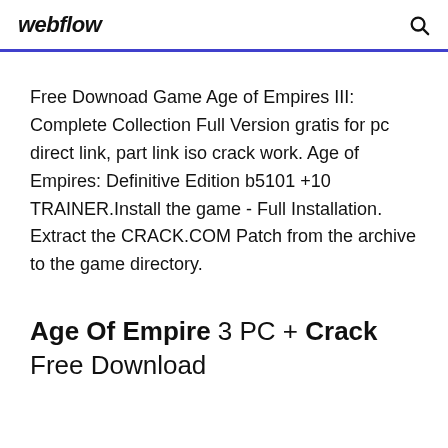webflow
Free Downoad Game Age of Empires III: Complete Collection Full Version gratis for pc direct link, part link iso crack work. Age of Empires: Definitive Edition b5101 +10 TRAINER.Install the game - Full Installation. Extract the CRACK.COM Patch from the archive to the game directory.
Age Of Empire 3 PC + Crack Free Download